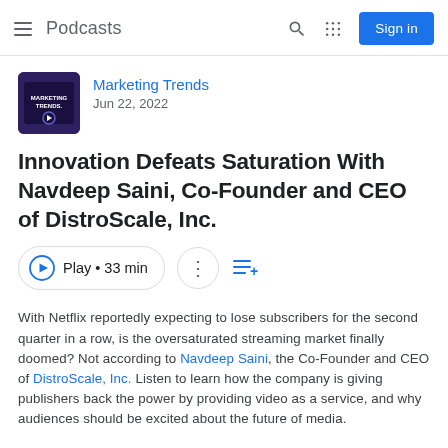≡ Podcasts  🔍  ⠿  Sign in
Marketing Trends
Jun 22, 2022
Innovation Defeats Saturation With Navdeep Saini, Co-Founder and CEO of DistroScale, Inc.
Play • 33 min
With Netflix reportedly expecting to lose subscribers for the second quarter in a row, is the oversaturated streaming market finally doomed? Not according to Navdeep Saini, the Co-Founder and CEO of DistroScale, Inc. Listen to learn how the company is giving publishers back the power by providing video as a service, and why audiences should be excited about the future of media.